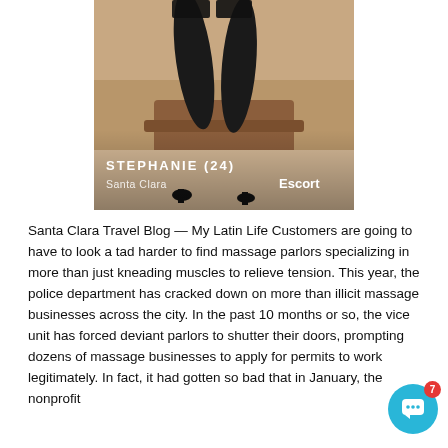[Figure (photo): Photo of a woman's legs in black stockings and heels, seated on a chair. Overlay text reads 'STEPHANIE (24)' with location 'Santa Clara' and tag 'Escort'.]
Santa Clara Travel Blog — My Latin Life Customers are going to have to look a tad harder to find massage parlors specializing in more than just kneading muscles to relieve tension. This year, the police department has cracked down on more than illicit massage businesses across the city. In the past 10 months or so, the vice unit has forced deviant parlors to shutter their doors, prompting dozens of massage businesses to apply for permits to work legitimately. In fact, it had gotten so bad that in January, the nonprofit